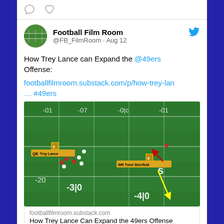[Figure (screenshot): Tweet from Football Film Room (@FB_FilmRoom) dated Aug 12. Tweet text: 'How Trey Lance can Expand the @49ers Offense: footballfilmroom.substack.com/p/how-trey-lan… #49ers'. Contains a football field screenshot with labeled players QB Trey Lance and WR Trent Sherfield, with yellow and red arrows drawn on the field. Below the image is a link preview showing 'footballfilmroom.substack.com' and 'How Trey Lance Can Expand the 49ers Offense'.]